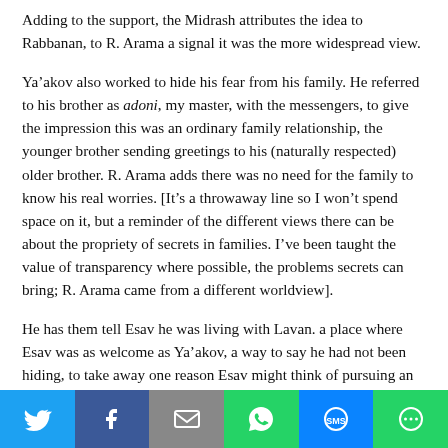Adding to the support, the Midrash attributes the idea to Rabbanan, to R. Arama a signal it was the more widespread view.
Ya’akov also worked to hide his fear from his family. He referred to his brother as adoni, my master, with the messengers, to give the impression this was an ordinary family relationship, the younger brother sending greetings to his (naturally respected) older brother. R. Arama adds there was no need for the family to know his real worries. [It’s a throwaway line so I won’t spend space on it, but a reminder of the different views there can be about the propriety of secrets in families. I’ve been taught the value of transparency where possible, the problems secrets can bring; R. Arama came from a different worldview].
He has them tell Esav he was living with Lavan. a place where Esav was as welcome as Ya’akov, a way to say he had not been hiding, to take away one reason Esav might think of pursuing an old grudge (the original irritant
[Figure (infographic): Social sharing bar with Twitter, Facebook, Email, WhatsApp, SMS, and More buttons.]